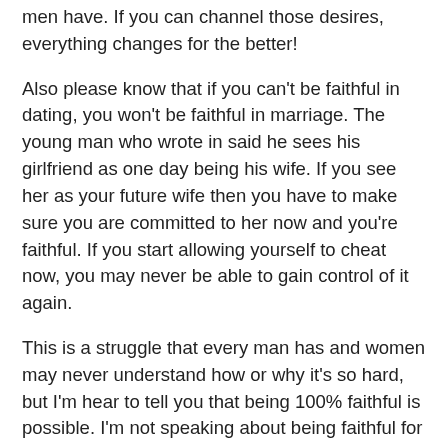men have. If you can channel those desires, everything changes for the better!
Also please know that if you can't be faithful in dating, you won't be faithful in marriage. The young man who wrote in said he sees his girlfriend as one day being his wife. If you see her as your future wife then you have to make sure you are committed to her now and you're faithful. If you start allowing yourself to cheat now, you may never be able to gain control of it again.
This is a struggle that every man has and women may never understand how or why it's so hard, but I'm hear to tell you that being 100% faithful is possible. I'm not speaking about being faithful for a year or two. I'm talking about longterm faithfulness. I'm in my sexual prime and I'm 100% faithful. I know I'm not the only one and I know that anyone can do it if you really want to. If you give into lust and you allow yourself to lust after other women, that lust will grow and one day it will consume you.
Give the gift of faithfulness to yourself because to cheat on